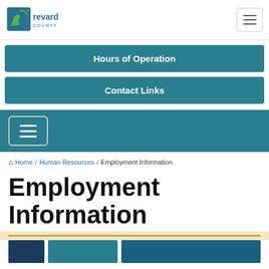Brevard County
Hours of Operation
Contact Links
Home / Human Resources / Employment Information
Employment Information